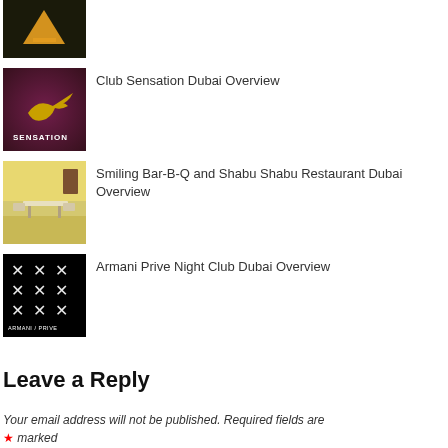[Figure (photo): Small thumbnail image, partially visible top of page]
Club Sensation Dubai Overview
[Figure (photo): Club Sensation logo thumbnail — dark purple/red background with golden bird logo and text SENSATION]
Smiling Bar-B-Q and Shabu Shabu Restaurant Dubai Overview
[Figure (photo): Restaurant interior thumbnail — yellow walls, tables with chairs]
Armani Prive Night Club Dubai Overview
[Figure (photo): Armani Prive logo thumbnail — black background with white geometric pattern and ARMANI / PRIVE text]
Leave a Reply
Your email address will not be published. Required fields are * marked